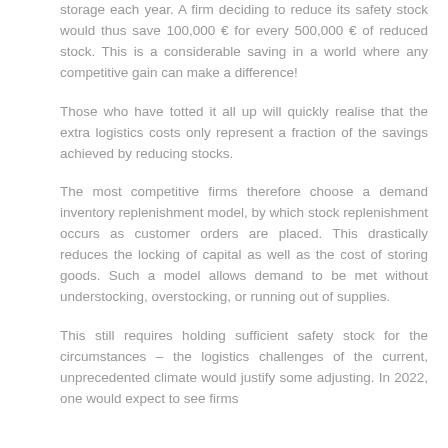storage each year. A firm deciding to reduce its safety stock would thus save 100,000 € for every 500,000 € of reduced stock. This is a considerable saving in a world where any competitive gain can make a difference!
Those who have totted it all up will quickly realise that the extra logistics costs only represent a fraction of the savings achieved by reducing stocks.
The most competitive firms therefore choose a demand inventory replenishment model, by which stock replenishment occurs as customer orders are placed. This drastically reduces the locking of capital as well as the cost of storing goods. Such a model allows demand to be met without understocking, overstocking, or running out of supplies.
This still requires holding sufficient safety stock for the circumstances – the logistics challenges of the current, unprecedented climate would justify some adjusting. In 2022, one would expect to see firms...